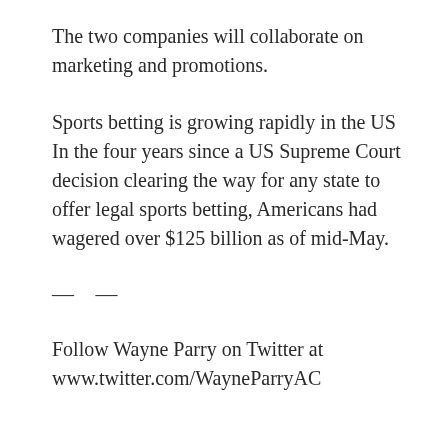The two companies will collaborate on marketing and promotions.
Sports betting is growing rapidly in the US In the four years since a US Supreme Court decision clearing the way for any state to offer legal sports betting, Americans had wagered over $125 billion as of mid-May.
— —
Follow Wayne Parry on Twitter at www.twitter.com/WayneParryAC